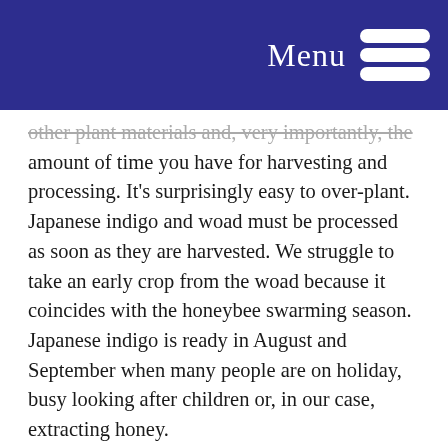Menu
...other plant materials and, very importantly, the amount of time you have for harvesting and processing. It's surprisingly easy to over-plant. Japanese indigo and woad must be processed as soon as they are harvested. We struggle to take an early crop from the woad because it coincides with the honeybee swarming season. Japanese indigo is ready in August and September when many people are on holiday, busy looking after children or, in our case, extracting honey.
Harvest
We aim for a mix of dye plants with different harvest times to spread the task over the growing season. Weld